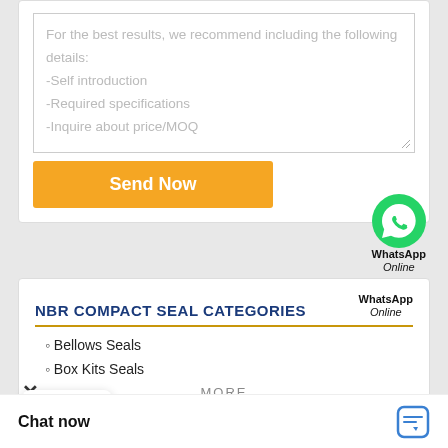For the best results, we recommend including the following details:
-Self introduction
-Required specifications
-Inquire about price/MOQ
Send Now
WhatsApp Online
NBR COMPACT SEAL CATEGORIES
Bellows Seals
Box Kits Seals
MORE
Chat now